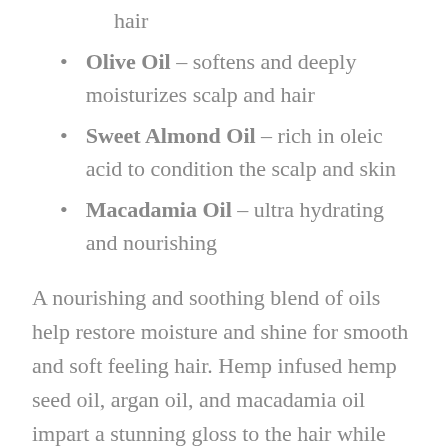hair
Olive Oil – softens and deeply moisturizes scalp and hair
Sweet Almond Oil – rich in oleic acid to condition the scalp and skin
Macadamia Oil – ultra hydrating and nourishing
A nourishing and soothing blend of oils help restore moisture and shine for smooth and soft feeling hair. Hemp infused hemp seed oil, argan oil, and macadamia oil impart a stunning gloss to the hair while sealing in and providing moisture. Jojoba, olive, and sweet almond oils help repair hair and tame frizz.